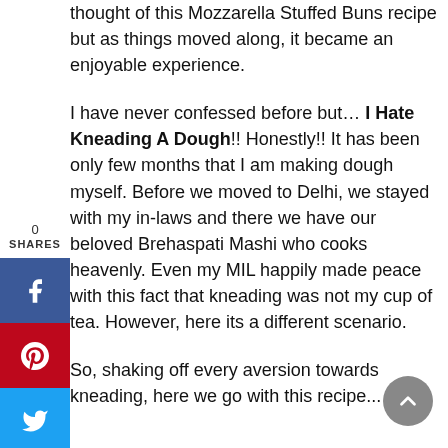thought of this Mozzarella Stuffed Buns recipe but as things moved along, it became an enjoyable experience.
I have never confessed before but… I Hate Kneading A Dough!! Honestly!! It has been only few months that I am making dough myself. Before we moved to Delhi, we stayed with my in-laws and there we have our beloved Brehaspati Mashi who cooks heavenly. Even my MIL happily made peace with this fact that kneading was not my cup of tea. However, here its a different scenario.
So, shaking off every aversion towards kneading, here we go with this recipe...